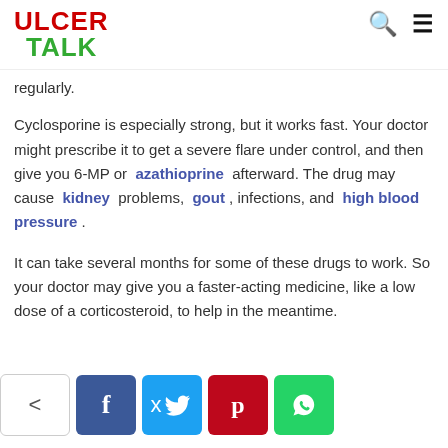ULCER TALK
regularly.
Cyclosporine is especially strong, but it works fast. Your doctor might prescribe it to get a severe flare under control, and then give you 6-MP or azathioprine afterward. The drug may cause kidney problems, gout , infections, and high blood pressure .
It can take several months for some of these drugs to work. So your doctor may give you a faster-acting medicine, like a low dose of a corticosteroid, to help in the meantime.
[Figure (infographic): Social sharing bar with share icon button, Facebook (f), Twitter bird, Pinterest (p), and WhatsApp icons]